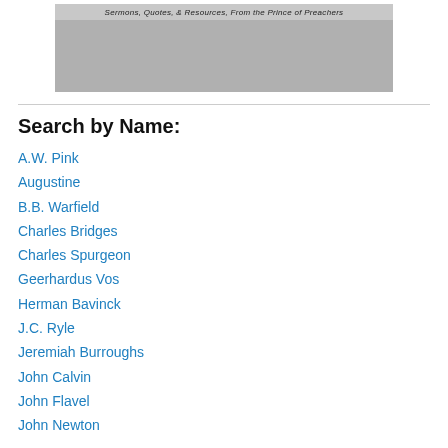[Figure (illustration): Banner image with italic text reading 'Sermons, Quotes, & Resources, From the Prince of Preachers' and a gray illustrated background figure.]
Search by Name:
A.W. Pink
Augustine
B.B. Warfield
Charles Bridges
Charles Spurgeon
Geerhardus Vos
Herman Bavinck
J.C. Ryle
Jeremiah Burroughs
John Calvin
John Flavel
John Newton